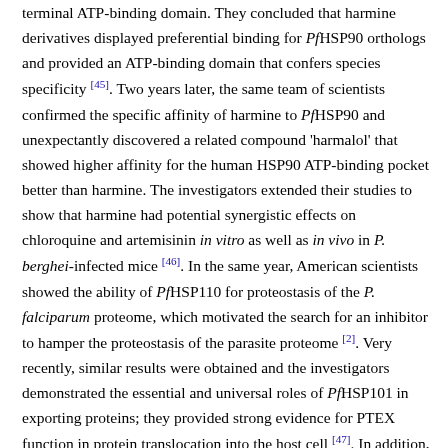terminal ATP-binding domain. They concluded that harmine derivatives displayed preferential binding for PfHSP90 orthologs and provided an ATP-binding domain that confers species specificity [45]. Two years later, the same team of scientists confirmed the specific affinity of harmine to PfHSP90 and unexpectantly discovered a related compound 'harmalol' that showed higher affinity for the human HSP90 ATP-binding pocket better than harmine. The investigators extended their studies to show that harmine had potential synergistic effects on chloroquine and artemisinin in vitro as well as in vivo in P. berghei-infected mice [46]. In the same year, American scientists showed the ability of PfHSP110 for proteostasis of the P. falciparum proteome, which motivated the search for an inhibitor to hamper the proteostasis of the parasite proteome [2]. Very recently, similar results were obtained and the investigators demonstrated the essential and universal roles of PfHSP101 in exporting proteins; they provided strong evidence for PTEX function in protein translocation into the host cell [47]. In addition, Elsworth et al. [48] discussed the functions of PTEX and the possibility of its use as a prime antimalarial drug target. The investigators showed that the major virulence factor PfEMP1 was significantly reduced in PTEX knockdown